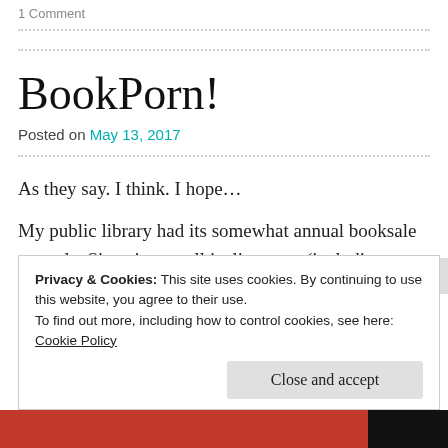1 Comment
BookPorn!
Posted on May 13, 2017
As they say. I think. I hope…
My public library had its somewhat annual booksale recently. Since it puts all its literature (including poetry!) in
Privacy & Cookies: This site uses cookies. By continuing to use this website, you agree to their use.
To find out more, including how to control cookies, see here: Cookie Policy
Close and accept